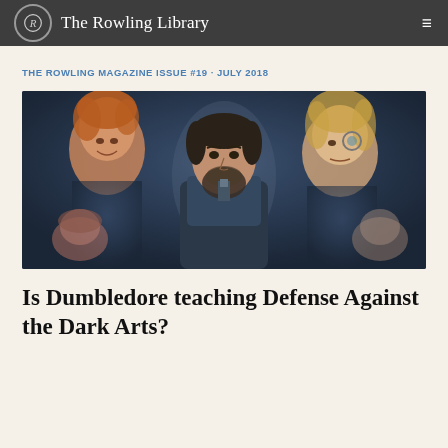The Rowling Library
THE ROWLING MAGAZINE ISSUE #19 · JULY 2018
[Figure (photo): A composite promotional image showing several actors, with a central bearded man in a dark coat (Jude Law as young Dumbledore) surrounded by ghostly figures of other characters including a red-haired smiling man, a blonde person with an eye patch/monocle, and partially visible faces in the background, all on a dark blue-grey background.]
Is Dumbledore teaching Defense Against the Dark Arts?